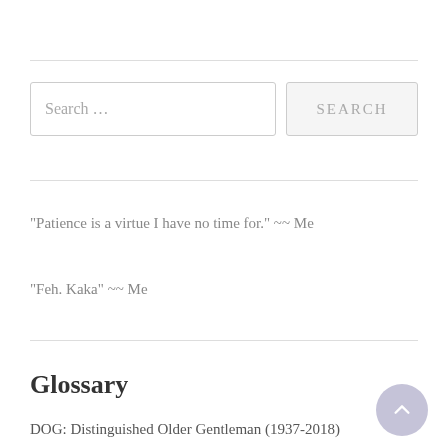[Figure (other): Search input field with placeholder text 'Search ...' and a SEARCH button]
"Patience is a virtue I have no time for." ~~ Me
"Feh. Kaka" ~~ Me
Glossary
DOG: Distinguished Older Gentleman (1937-2018)